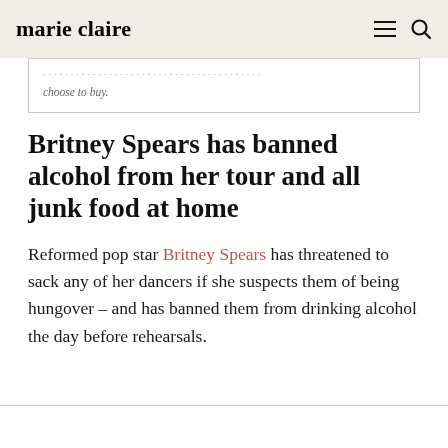marie claire
choose to buy.
Britney Spears has banned alcohol from her tour and all junk food at home
Reformed pop star Britney Spears has threatened to sack any of her dancers if she suspects them of being hungover – and has banned them from drinking alcohol the day before rehearsals.